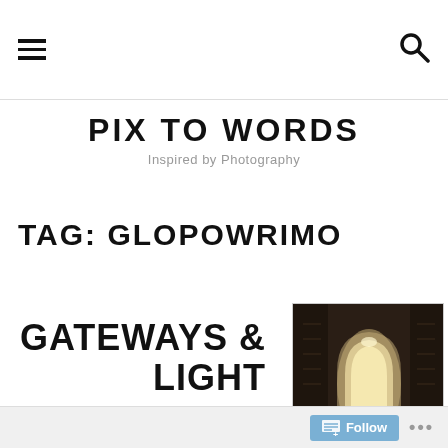≡ [hamburger menu] [search icon]
PIX TO WORDS
Inspired by Photography
TAG: GLOPOWRIMO
GATEWAYS & LIGHT
[Figure (photo): Architectural archway with golden/white illuminated Moorish-style arch against dark ornate stone walls]
Follow ...